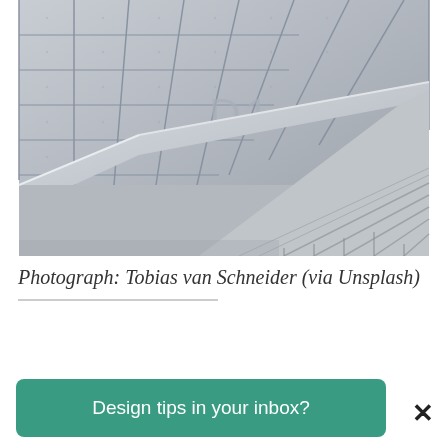[Figure (photo): Architectural photograph showing concrete stairs from above with a glass-paneled building wall marked 'D1' in the background. Monochromatic grey tones.]
Photograph: Tobias van Schneider (via Unsplash)
Design tips in your inbox?